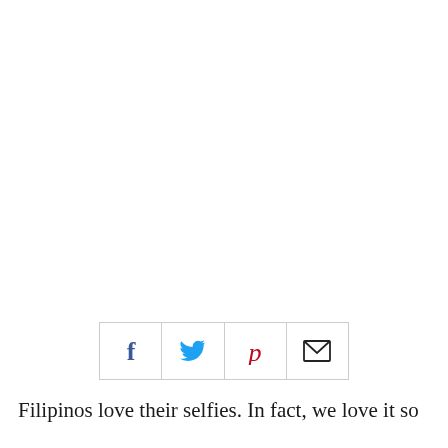[Figure (infographic): Social sharing icon bar with four icons: Facebook (f), Twitter (bird), Pinterest (P), and Email (envelope)]
Filipinos love their selfies. In fact, we love it so